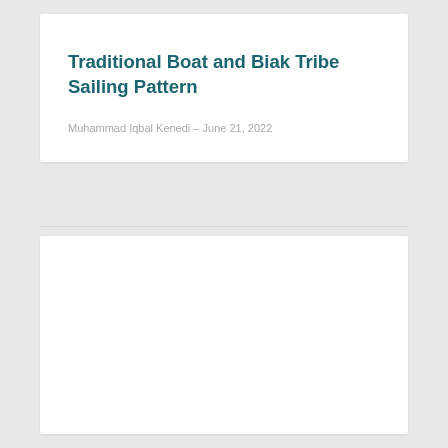Traditional Boat and Biak Tribe Sailing Pattern
Muhammad Iqbal Kenedi – June 21, 2022
[Figure (other): Empty white content card below the title card, likely a placeholder for an image or article body content]